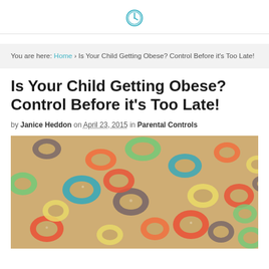[Clock logo icon]
You are here: Home › Is Your Child Getting Obese? Control Before it's Too Late!
Is Your Child Getting Obese? Control Before it's Too Late!
by Janice Heddon on April 23, 2015 in Parental Controls
[Figure (photo): Close-up photo of colorful fruit loop cereal rings in various colors including red, orange, green, yellow, blue, and purple]